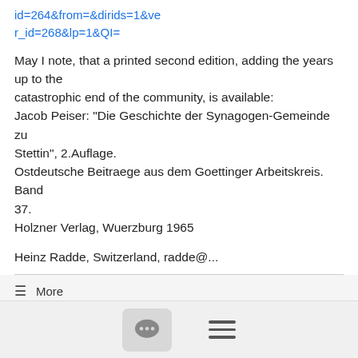id=264&from=&dirids=1&ver_id=268&lp=1&QI=
May I note, that a printed second edition, adding the years up to the catastrophic end of the community, is available:
Jacob Peiser: "Die Geschichte der Synagogen-Gemeinde zu Stettin", 2.Auflage.
Ostdeutsche Beitraege aus dem Goettinger Arbeitskreis. Band 37.
Holzner Verlag, Wuerzburg 1965
Heinz Radde, Switzerland, radde@...
☰ More
German SIG #Germany IAJGS Paris 2012 - Newsletter #15 [Afterthoughts] #germany